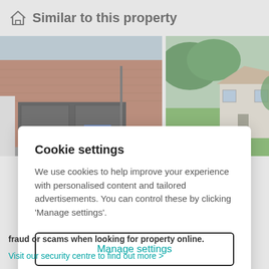Similar to this property
[Figure (photo): Two property photos side by side: left shows a brick commercial building with large dark glass windows and a blue estate agent sign; right shows a white cottage with green lawn and trees.]
Cookie settings
We use cookies to help improve your experience with personalised content and tailored advertisements. You can control these by clicking 'Manage settings'.
Manage settings
Allow all cookies
fraud or scams when looking for property online.
Visit our security centre to find out more >